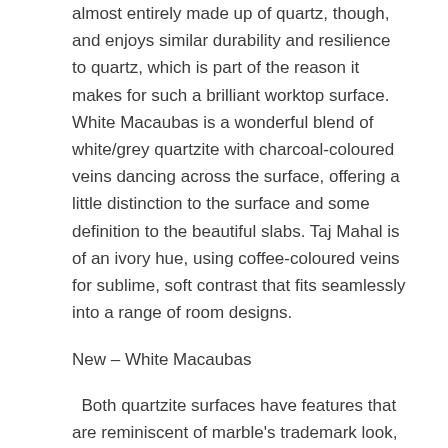almost entirely made up of quartz, though, and enjoys similar durability and resilience to quartz, which is part of the reason it makes for such a brilliant worktop surface. White Macaubas is a wonderful blend of white/grey quartzite with charcoal-coloured veins dancing across the surface, offering a little distinction to the surface and some definition to the beautiful slabs. Taj Mahal is of an ivory hue, using coffee-coloured veins for sublime, soft contrast that fits seamlessly into a range of room designs.
New – White Macaubas
Both quartzite surfaces have features that are reminiscent of marble's trademark look, but with their own characteristics and